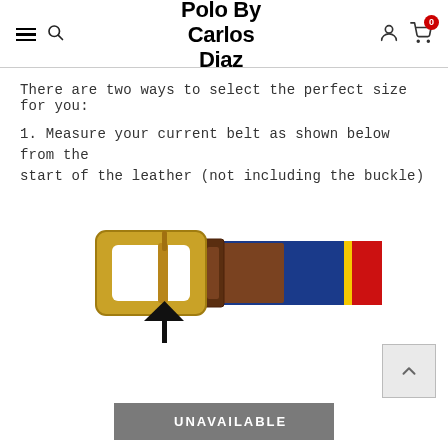Polo By Carlos Diaz
There are two ways to select the perfect size for you:
1. Measure your current belt as shown below from the start of the leather (not including the buckle)
[Figure (illustration): Illustration of a polo belt with a gold buckle on the left, brown leather strap in the middle, and colorful fabric (blue, yellow, red) on the right. A black upward-pointing arrow is shown below the buckle area.]
UNAVAILABLE